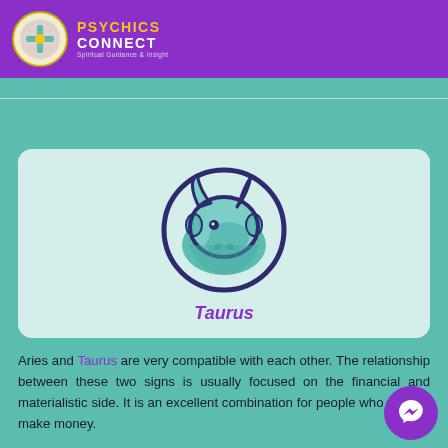Psychics Connect - Spiritual Guidance & Insight
[Figure (illustration): Taurus zodiac sign illustration: a stylized bull head in teal/mint color inside a dark navy circle, with horns curving upward. Label 'Taurus' in purple italic below.]
Aries and Taurus are very compatible with each other. The relationship between these two signs is usually focused on the financial and materialistic side. It is an excellent combination for people who want to make money.
At first glance, there are a lot of differences between Taurus